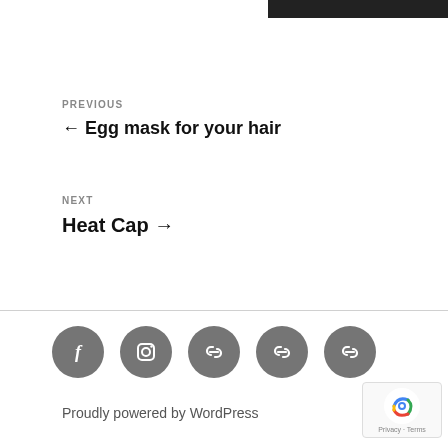[Figure (other): Black banner/bar at top right corner of page]
PREVIOUS
← Egg mask for your hair
NEXT
Heat Cap →
[Figure (other): Row of five grey circular social media / link icons: Facebook, Instagram, and three chain-link icons]
Proudly powered by WordPress